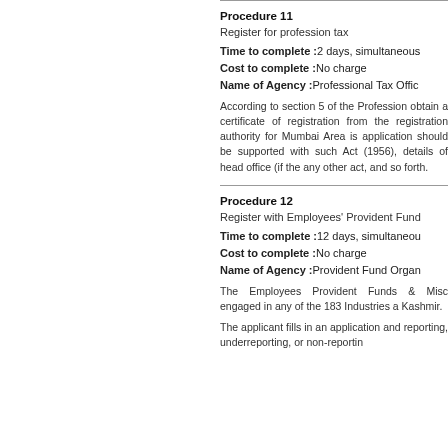Procedure 11
Register for profession tax
Time to complete :2 days, simultaneous
Cost to complete :No charge
Name of Agency :Professional Tax Offic
According to section 5 of the Profession... obtain a certificate of registration from the registration authority for Mumbai Area is application should be supported with such Act (1956), details of head office (if the any other act, and so forth.
Procedure 12
Register with Employees' Provident Fund
Time to complete :12 days, simultaneous
Cost to complete :No charge
Name of Agency :Provident Fund Organ
The Employees Provident Funds & Misc engaged in any of the 183 Industries a Kashmir.
The applicant fills in an application and reporting, underreporting, or non-reportin